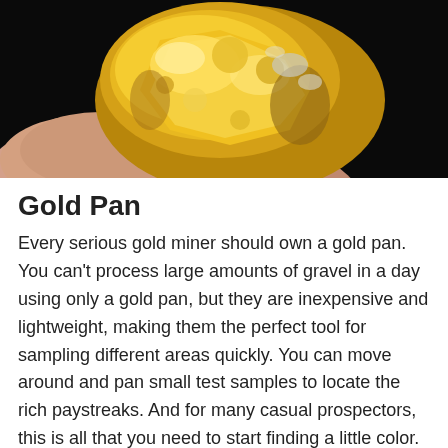[Figure (photo): Close-up photo of a gold nugget being held between fingers against a dark black background. The nugget is bright yellow-gold with rough, textured surface.]
Gold Pan
Every serious gold miner should own a gold pan. You can't process large amounts of gravel in a day using only a gold pan, but they are inexpensive and lightweight, making them the perfect tool for sampling different areas quickly. You can move around and pan small test samples to locate the rich paystreaks. And for many casual prospectors, this is all that you need to start finding a little color. Good gold panning kits can be purchased that are very inexpensive and can get you started finding gold right away.
Sluice Box